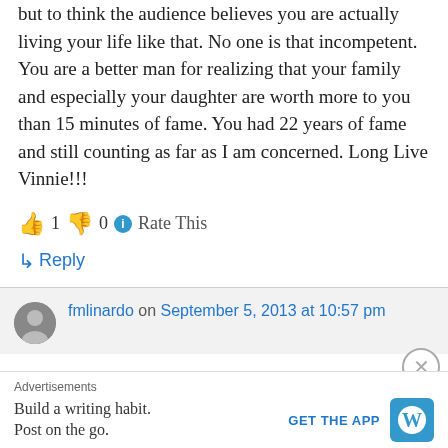but to think the audience believes you are actually living your life like that. No one is that incompetent. You are a better man for realizing that your family and especially your daughter are worth more to you than 15 minutes of fame. You had 22 years of fame and still counting as far as I am concerned. Long Live Vinnie!!!
👍 1 👎 0 ℹ Rate This
↳ Reply
fmlinardo on September 5, 2013 at 10:57 pm
Advertisements
Build a writing habit. Post on the go.
GET THE APP